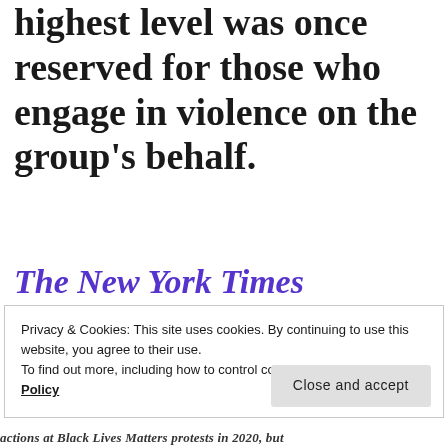highest level was once reserved for those who engage in violence on the group's behalf.
The New York Times
Privacy & Cookies: This site uses cookies. By continuing to use this website, you agree to their use.
To find out more, including how to control cookies, see here: Cookie Policy
actions at Black Lives Matters protests in 2020, but